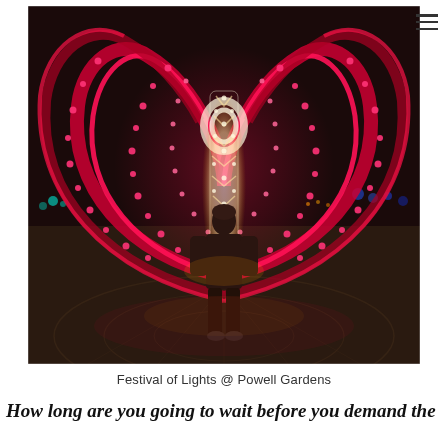[Figure (photo): Nighttime photo of a person standing in front of a large illuminated heart-shaped light sculpture made of pink/red lights at Powell Gardens Festival of Lights. The person is silhouetted against the glowing white center of the structure. Dark sky background with colorful lights visible in the distance.]
Festival of Lights @ Powell Gardens
How long are you going to wait before you demand the